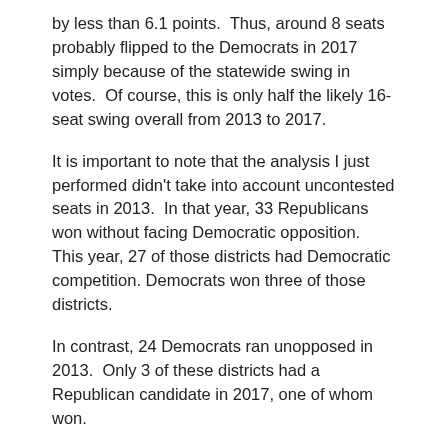by less than 6.1 points. Thus, around 8 seats probably flipped to the Democrats in 2017 simply because of the statewide swing in votes. Of course, this is only half the likely 16-seat swing overall from 2013 to 2017.
It is important to note that the analysis I just performed didn't take into account uncontested seats in 2013. In that year, 33 Republicans won without facing Democratic opposition. This year, 27 of those districts had Democratic competition. Democrats won three of those districts.
In contrast, 24 Democrats ran unopposed in 2013. Only 3 of these districts had a Republican candidate in 2017, one of whom won.
Thus, on net, the conversion of previously uncontested seats into contested ones added a couple of seats to the Democratic wave in 2017.